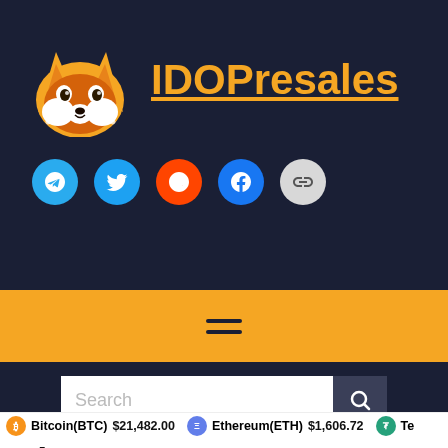[Figure (logo): IDOPresales fox logo with orange and yellow fox head illustration]
IDOPresales
[Figure (infographic): Social media buttons: Telegram (blue), Twitter (blue), Reddit (orange-red), Facebook (blue), Chain/link (gray)]
[Figure (infographic): Hamburger menu icon (equals sign) on yellow navigation bar]
[Figure (screenshot): Search input field with magnifying glass button on dark background]
Visqore KYC Verification
Bitcoin(BTC) $21,482.00   Ethereum(ETH) $1,606.72   Te...